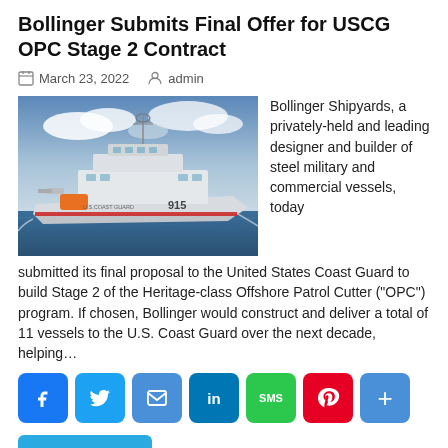Bollinger Submits Final Offer for USCG OPC Stage 2 Contract
March 23, 2022   admin
[Figure (photo): U.S. Coast Guard offshore patrol cutter vessel (number 915) sailing at sea with blue sky and clouds in background]
Bollinger Shipyards, a privately-held and leading designer and builder of steel military and commercial vessels, today submitted its final proposal to the United States Coast Guard to build Stage 2 of the Heritage-class Offshore Patrol Cutter ("OPC") program. If chosen, Bollinger would construct and deliver a total of 11 vessels to the U.S. Coast Guard over the next decade, helping…